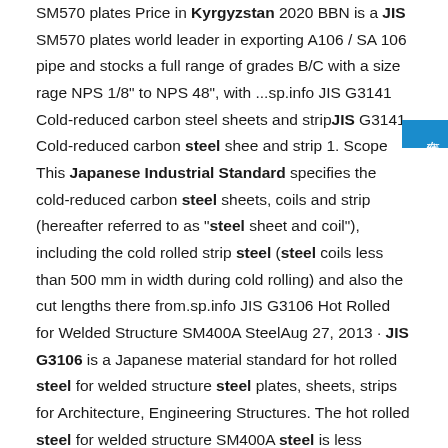SM570 plates Price in Kyrgyzstan 2020 BBN is a JIS SM570 plates world leader in exporting A106 / SA 106 pipe and stocks a full range of grades B/C with a size rage NPS 1/8" to NPS 48", with ...sp.info JIS G3141 Cold-reduced carbon steel sheets and stripJIS G3141 Cold-reduced carbon steel shee and strip 1. Scope This Japanese Industrial Standard specifies the cold-reduced carbon steel sheets, coils and strip (hereafter referred to as "steel sheet and coil"), including the cold rolled strip steel (steel coils less than 500 mm in width during cold rolling) and also the cut lengths there from.sp.info JIS G3106 Hot Rolled for Welded Structure SM400A SteelAug 27, 2013 · JIS G3106 is a Japanese material standard for hot rolled steel for welded structure steel plates, sheets, strips for Architecture, Engineering Structures. The hot rolled steel for welded structure SM400A steel is less reliable in its tensile strength than SM400 steel.sp.info SM400A Hot Rolled Steel...